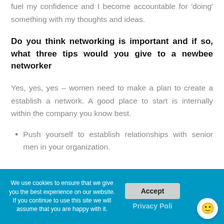fuel my confidence and I become accountable for 'doing' something with my thoughts and ideas.
Do you think networking is important and if so, what three tips would you give to a newbee networker
Yes, yes, yes – women need to make a plan to create a establish a network. A good place to start is internally within the company you know best.
Push yourself to establish relationships with senior men in your organization.